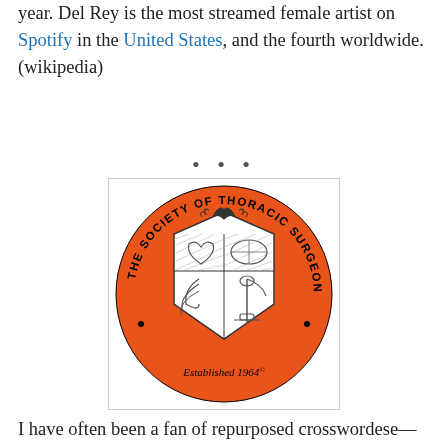year. Del Rey is the most streamed female artist on Spotify in the United States, and the fourth worldwide. (wikipedia)
[Figure (logo): The Society of Thoracic Surgeons official circular logo on an orange background with a shield emblem showing anatomical illustrations. Text reads 'THE SOCIETY OF THORACIC SURGEONS' around the circle and 'Established 1964' at the bottom.]
I have often been a fan of repurposed crosswordese—taking something stale and crossword-common and giving it new life as, say, a rebus square (saw this done with ERG once) or, perhaps, a revealer. The problem with STS is it doesn't even qualify as crosswordese. It's just an ugly abbr. that you would never ever be happy to see in (or put in) your puzzle. It just doesn't work as a revealer, and by "work" I mean